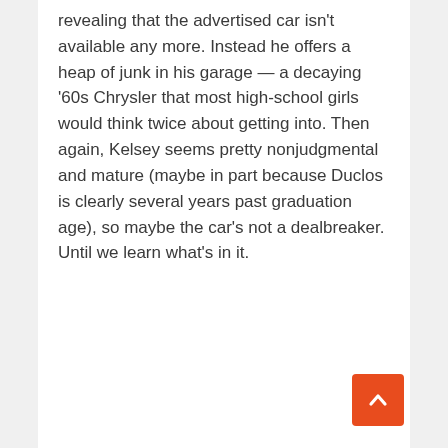revealing that the advertised car isn't available any more. Instead he offers a heap of junk in his garage — a decaying '60s Chrysler that most high-school girls would think twice about getting into. Then again, Kelsey seems pretty nonjudgmental and mature (maybe in part because Duclos is clearly several years past graduation age), so maybe the car's not a dealbreaker. Until we learn what's in it.